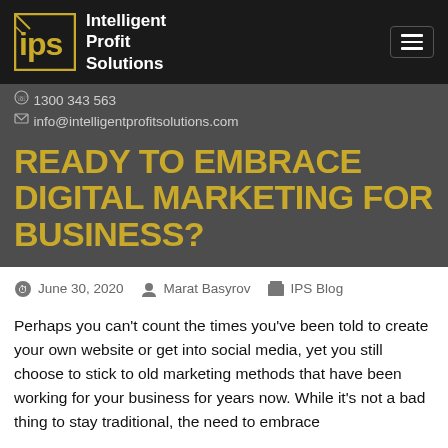Intelligent Profit Solutions
1300 343 563
info@intelligentprofitsolutions.com
READY TO EMBRACE DIGITAL MARKETING FOR BUSINESS?
June 30, 2020  Marat Basyrov  IPS Blog
Perhaps you can't count the times you've been told to create your own website or get into social media, yet you still choose to stick to old marketing methods that have been working for your business for years now. While it's not a bad thing to stay traditional, the need to embrace